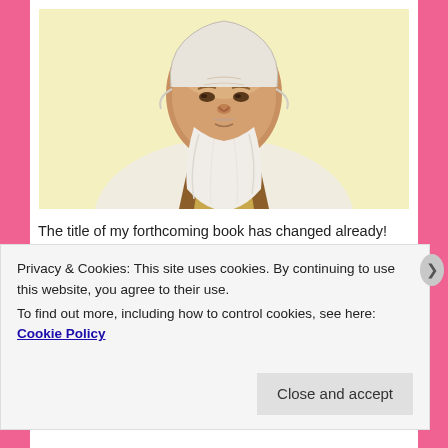[Figure (illustration): Painting/illustration of an elderly Asian man (resembling Laozi/Confucius) with a long white beard, wearing traditional robes in white and brown/gold, against a light yellow background.]
The title of my forthcoming book has changed already!  It is now called “The Road to Nowhere – embracing the totality”, and here for your pleasure (I hope) is another extract to be…
Privacy & Cookies: This site uses cookies. By continuing to use this website, you agree to their use.
To find out more, including how to control cookies, see here: Cookie Policy
Close and accept